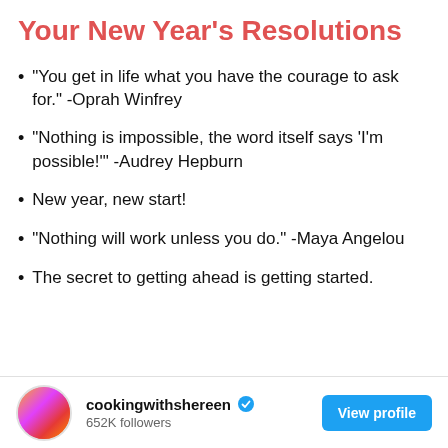Your New Year's Resolutions
"You get in life what you have the courage to ask for." -Oprah Winfrey
"Nothing is impossible, the word itself says 'I'm possible!'" -Audrey Hepburn
New year, new start!
"Nothing will work unless you do." -Maya Angelou
The secret to getting ahead is getting started.
cookingwithshereen · 652K followers · View profile